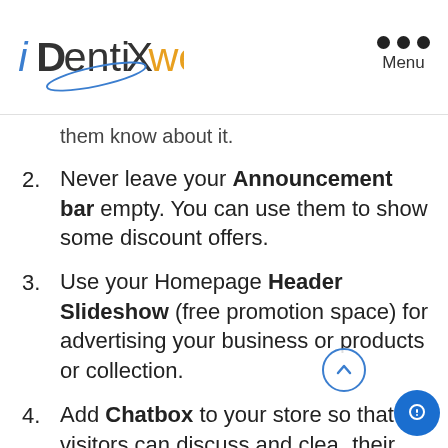iDentixweb — Menu
them know about it.
2. Never leave your Announcement bar empty. You can use them to show some discount offers.
3. Use your Homepage Header Slideshow (free promotion space) for advertising your business or products or collection.
4. Add Chatbox to your store so that visitors can discuss and clear their doubts immediately.